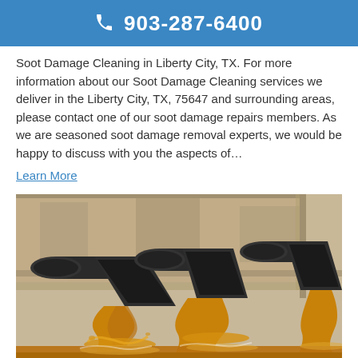☎ 903-287-6400
Soot Damage Cleaning in Liberty City, TX. For more information about our Soot Damage Cleaning services we deliver in the Liberty City, TX, 75647 and surrounding areas, please contact one of our soot damage repairs members. As we are seasoned soot damage removal experts, we would be happy to discuss with you the aspects of…
Learn More
[Figure (photo): Three large industrial drainage pipes discharging murky brown-orange water into a flooding area, against a weathered concrete wall background.]